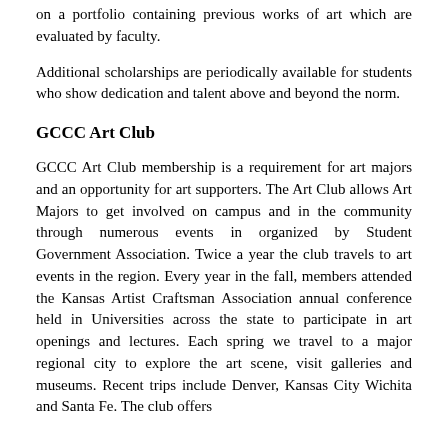on a portfolio containing previous works of art which are evaluated by faculty.
Additional scholarships are periodically available for students who show dedication and talent above and beyond the norm.
GCCC Art Club
GCCC Art Club membership is a requirement for art majors and an opportunity for art supporters. The Art Club allows Art Majors to get involved on campus and in the community through numerous events in organized by Student Government Association. Twice a year the club travels to art events in the region. Every year in the fall, members attended the Kansas Artist Craftsman Association annual conference held in Universities across the state to participate in art openings and lectures. Each spring we travel to a major regional city to explore the art scene, visit galleries and museums. Recent trips include Denver, Kansas City Wichita and Santa Fe. The club offers